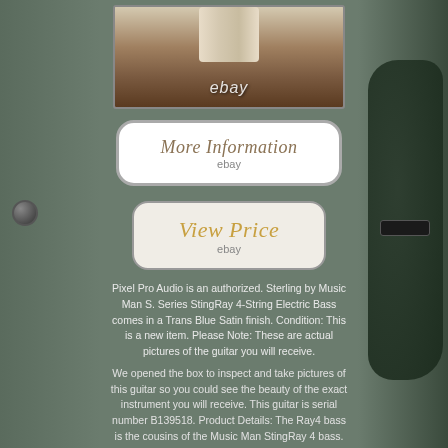[Figure (photo): Top portion of a Sterling by Music Man bass guitar neck and headstock on a wooden surface with ebay watermark]
[Figure (screenshot): More Information button with ebay label in rounded rectangle]
[Figure (screenshot): View Price button with ebay label in rounded rectangle]
Pixel Pro Audio is an authorized. Sterling by Music Man S. Series StingRay 4-String Electric Bass comes in a Trans Blue Satin finish. Condition: This is a new item. Please Note: These are actual pictures of the guitar you will receive.
We opened the box to inspect and take pictures of this guitar so you could see the beauty of the exact instrument you will receive. This guitar is serial number B139518. Product Details: The Ray4 bass is the cousins of the Music Man StingRay 4 bass. Classic, iconic instruments that defined a generation of bassists since the late 70 2s.